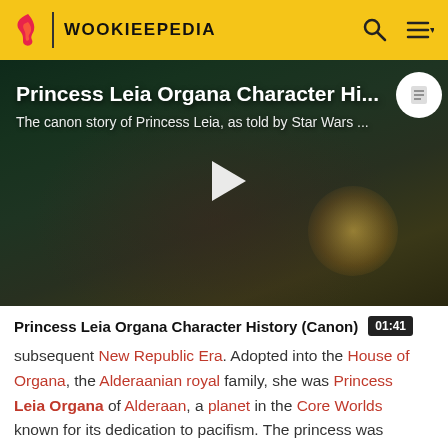WOOKIEEPEDIA
[Figure (screenshot): Video thumbnail showing Princess Leia character with play button overlay. Title reads 'Princess Leia Organa Character Hi...' and subtitle 'The canon story of Princess Leia, as told by Star Wars ...']
Princess Leia Organa Character History (Canon) 01:41
subsequent New Republic Era. Adopted into the House of Organa, the Alderaanian royal family, she was Princess Leia Organa of Alderaan, a planet in the Core Worlds known for its dedication to pacifism. The princess was